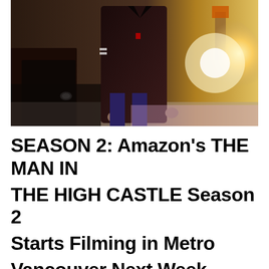[Figure (photo): A person wearing a dark leather jacket and military-style uniform standing near a vintage car, with a bright light/explosion effect in the background. Scene appears to be from a TV show or film set in an alternate history period.]
SEASON 2: Amazon's THE MAN IN THE HIGH CASTLE Season 2 Starts Filming in Metro Vancouver Next Week